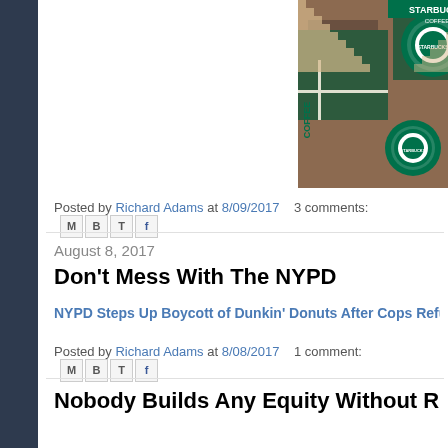[Figure (photo): Starbucks Coffee storefront with green logo signs and brick facade, viewed at an angle showing multiple Starbucks logos]
Posted by Richard Adams at 8/09/2017   3 comments:
August 8, 2017
Don't Mess With The NYPD
NYPD Steps Up Boycott of Dunkin' Donuts After Cops Refused Se...
Posted by Richard Adams at 8/08/2017   1 comment:
Nobody Builds Any Equity Without Real Es...